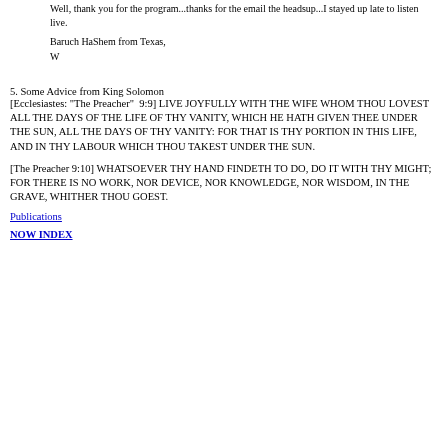Well, thank you for the program...thanks for the email the headsup...I stayed up late to listen live.
Baruch HaShem from Texas,
W
5. Some Advice from King Solomon
[Ecclesiastes: "The Preacher"  9:9] LIVE JOYFULLY WITH THE WIFE WHOM THOU LOVEST ALL THE DAYS OF THE LIFE OF THY VANITY, WHICH HE HATH GIVEN THEE UNDER THE SUN, ALL THE DAYS OF THY VANITY: FOR THAT IS THY PORTION IN THIS LIFE, AND IN THY LABOUR WHICH THOU TAKEST UNDER THE SUN.
[The Preacher 9:10] WHATSOEVER THY HAND FINDETH TO DO, DO IT WITH THY MIGHT; FOR THERE IS NO WORK, NOR DEVICE, NOR KNOWLEDGE, NOR WISDOM, IN THE GRAVE, WHITHER THOU GOEST.
Publications
NOW INDEX